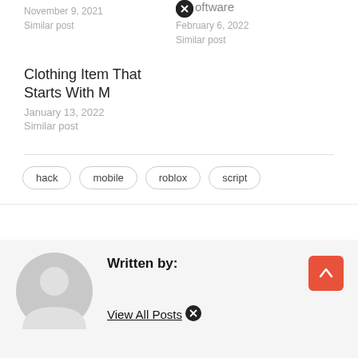November 9, 2021
Similar post
Software
February 6, 2022
Similar post
Clothing Item That Starts With M
January 13, 2022
Similar post
hack
mobile
roblox
script
Written by:
View All Posts